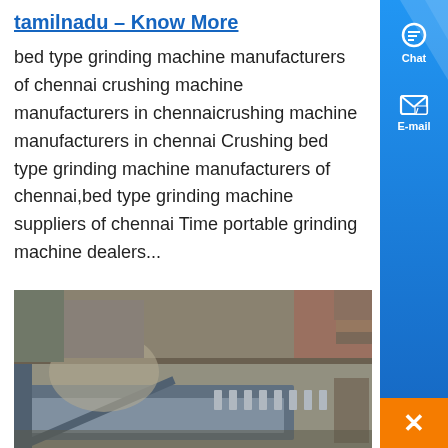tamilnadu – Know More
bed type grinding machine manufacturers of chennai crushing machine manufacturers in chennaicrushing machine manufacturers in chennai Crushing bed type grinding machine manufacturers of chennai,bed type grinding machine suppliers of chennai Time portable grinding machine dealers...
[Figure (photo): Industrial factory floor showing large metal grinding/milling machine beds and equipment components in a manufacturing facility.]